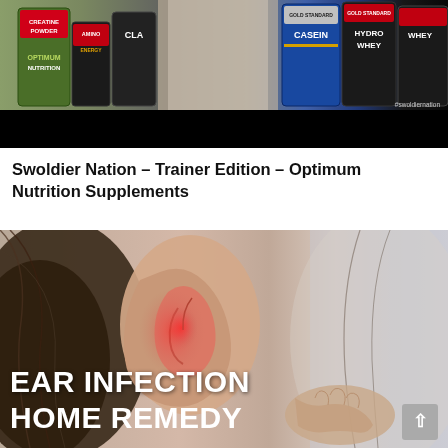[Figure (photo): Video thumbnail showing various supplement containers including Creatine Powder, BCAA Energy, CLA, Gold Standard Casein, Hydro Whey, and Gold Standard Whey protein tubs arranged on a table, with a black lower bar and #swoldiernation watermark]
Swoldier Nation – Trainer Edition – Optimum Nutrition Supplements
[Figure (photo): Close-up photo of a woman's red, inflamed ear being touched with fingers, with white bold text overlay reading EAR INFECTION HOME REMEDY. A grey scroll-to-top button appears in the bottom right corner.]